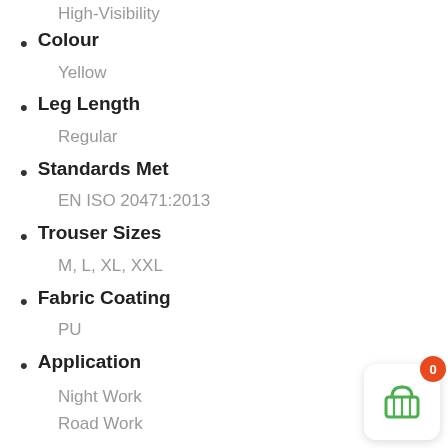High-Visibility
Colour
Yellow
Leg Length
Regular
Standards Met
EN ISO 20471:2013
Trouser Sizes
M, L, XL, XXL
Fabric Coating
PU
Application
Night Work
Road Work
Specification